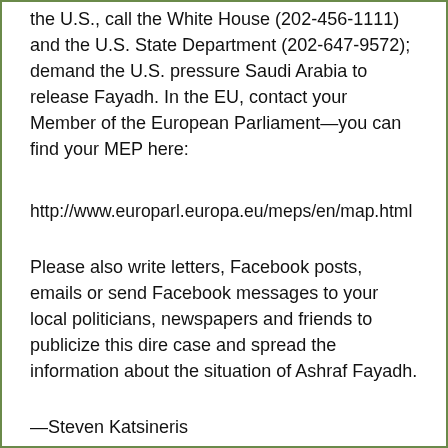the U.S., call the White House (202-456-1111) and the U.S. State Department (202-647-9572); demand the U.S. pressure Saudi Arabia to release Fayadh. In the EU, contact your Member of the European Parliament—you can find your MEP here:
http://www.europarl.europa.eu/meps/en/map.html
Please also write letters, Facebook posts, emails or send Facebook messages to your local politicians, newspapers and friends to publicize this dire case and spread the information about the situation of Ashraf Fayadh.
—Steven Katsineris
Information from Amnesty International, Samidoun Palestinian Prisoner Solidarity Network, and HAIA Z...